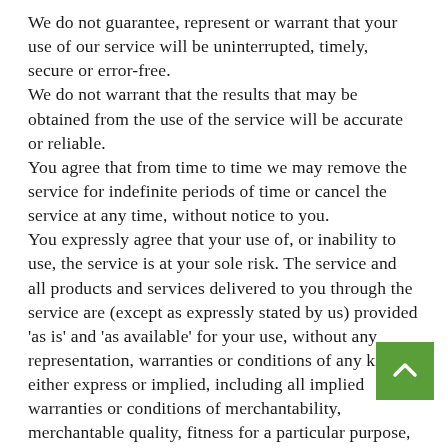We do not guarantee, represent or warrant that your use of our service will be uninterrupted, timely, secure or error-free.
We do not warrant that the results that may be obtained from the use of the service will be accurate or reliable.
You agree that from time to time we may remove the service for indefinite periods of time or cancel the service at any time, without notice to you.
You expressly agree that your use of, or inability to use, the service is at your sole risk. The service and all products and services delivered to you through the service are (except as expressly stated by us) provided 'as is' and 'as available' for your use, without any representation, warranties or conditions of any kind, either express or implied, including all implied warranties or conditions of merchantability, merchantable quality, fitness for a particular purpose, durability, title, and non-infringement.
In no case shall Persian Foods 2 GO, our directors, officers, employees, affiliates, agents, contractors, interns, suppliers, service providers or licensors be liable for any injury, loss, claim, or any direct, indirect,